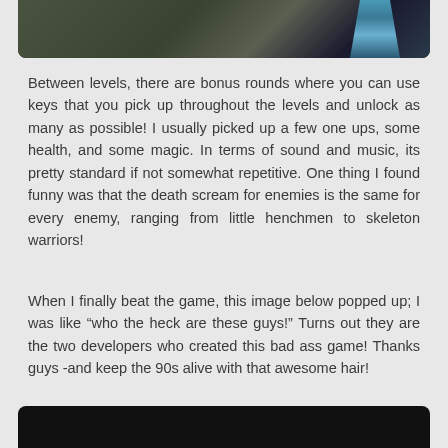[Figure (screenshot): Partial screenshot of a video game scene showing dark olive/green textured environment with a blue and white striped element on the right side]
Between levels, there are bonus rounds where you can use keys that you pick up throughout the levels and unlock as many as possible! I usually picked up a few one ups, some health, and some magic. In terms of sound and music, its pretty standard if not somewhat repetitive. One thing I found funny was that the death scream for enemies is the same for every enemy, ranging from little henchmen to skeleton warriors!
When I finally beat the game, this image below popped up; I was like “who the heck are these guys!” Turns out they are the two developers who created this bad ass game! Thanks guys -and keep the 90s alive with that awesome hair!
[Figure (screenshot): Bottom portion of another game screenshot, showing a dark/black scene]